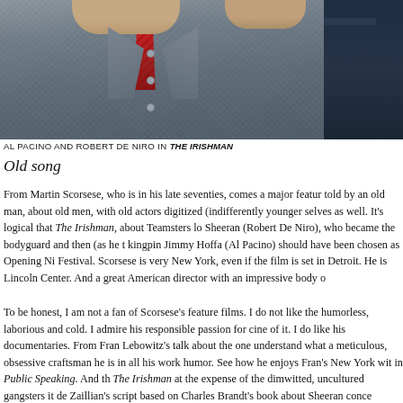[Figure (photo): Al Pacino and Robert De Niro photographed together, both in suits; one in a grey herringbone jacket with red tie, the other in a dark navy suit, from the film The Irishman.]
AL PACINO AND ROBERT DE NIRO IN THE IRISHMAN
Old song
From Martin Scorsese, who is in his late seventies, comes a major feature film told by an old man, about old men, with old actors digitized (indifferently) as younger selves as well. It's logical that The Irishman, about Teamsters lobbyist Sheeran (Robert De Niro), who became the bodyguard and then (as he tells it) kingpin Jimmy Hoffa (Al Pacino) should have been chosen as Opening Night at the Festival. Scorsese is very New York, even if the film is set in Detroit. He is tied to Lincoln Center. And a great American director with an impressive body of work.
To be honest, I am not a fan of Scorsese's feature films. I do not like the way humorless, laborious and cold. I admire his responsible passion for cinema and all of it. I do like his documentaries. From Fran Lebowitz's talk about the one to understand what a meticulous, obsessive craftsman he is in all his work, including humor. See how he enjoys Fran's New York wit in Public Speaking. And the irony of The Irishman at the expense of the dimwitted, uncultured gangsters it depicts. Zaillian's script based on Charles Brandt's book about Sheeran concerns…